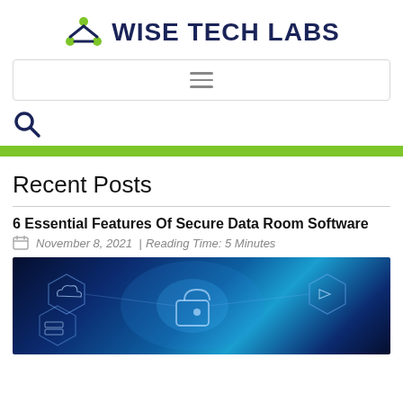[Figure (logo): Wise Tech Labs logo with stylized W icon in dark blue and green, and bold dark blue text 'WISE TECH LABS']
[Figure (screenshot): Navigation bar with hamburger menu icon (three horizontal lines)]
[Figure (other): Search icon (magnifying glass) in dark blue]
Recent Posts
6 Essential Features Of Secure Data Room Software
November 8, 2021 | Reading Time: 5 Minutes
[Figure (photo): Dark blue glowing cybersecurity image showing a digital padlock with hexagonal network icons including cloud, server/database, media player, and person icons with glowing blue light effects]